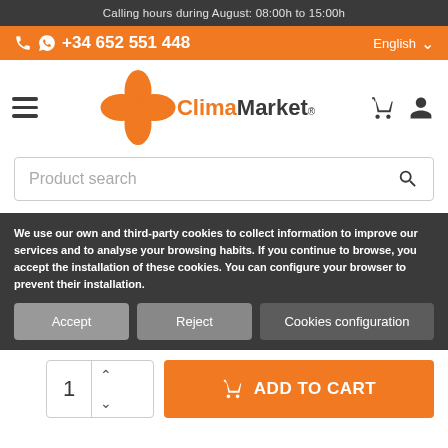Calling hours during August: 08:00h to 15:00h
+34 652 551 448  English
[Figure (logo): ClimaMarket logo with orange swirl and text]
Product search
We use our own and third-party cookies to collect information to improve our services and to analyse your browsing habits. If you continue to browse, you accept the installation of these cookies. You can configure your browser to prevent their installation.
Accept | Reject | Cookies configuration
1  ADD TO CART